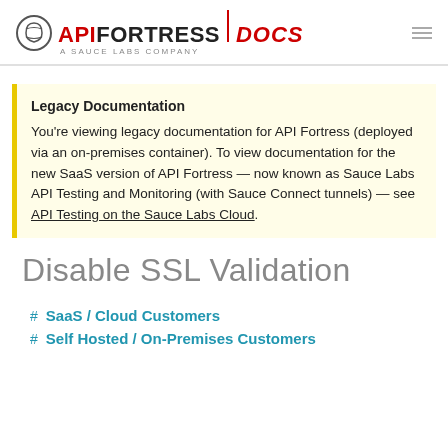API FORTRESS DOCS — A Sauce Labs Company
Legacy Documentation
You're viewing legacy documentation for API Fortress (deployed via an on-premises container). To view documentation for the new SaaS version of API Fortress — now known as Sauce Labs API Testing and Monitoring (with Sauce Connect tunnels) — see API Testing on the Sauce Labs Cloud.
Disable SSL Validation
SaaS / Cloud Customers
Self Hosted / On-Premises Customers